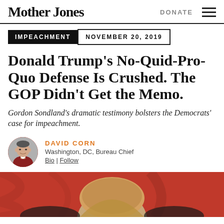Mother Jones | DONATE
IMPEACHMENT   NOVEMBER 20, 2019
Donald Trump's No-Quid-Pro-Quo Defense Is Crushed. The GOP Didn't Get the Memo.
Gordon Sondland's dramatic testimony bolsters the Democrats' case for impeachment.
DAVID CORN
Washington, DC, Bureau Chief
Bio | Follow
[Figure (photo): Photo of a person with reddish/orange backdrop, partially visible — appears to be Donald Trump from behind or partially shown, red background.]